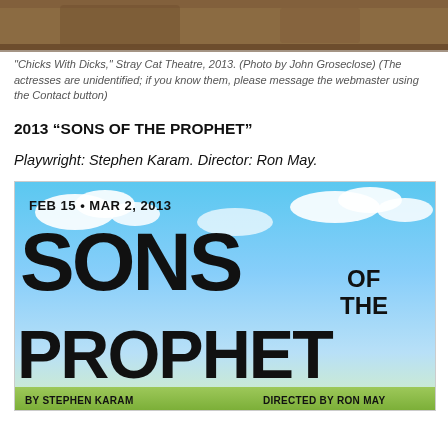[Figure (photo): Top portion of a photo from 'Chicks With Dicks,' Stray Cat Theatre, 2013, showing a warm brown/wooden background]
"Chicks With Dicks," Stray Cat Theatre, 2013. (Photo by John Groseclose) (The actresses are unidentified; if you know them, please message the webmaster using the Contact button)
2013  “SONS OF THE PROPHET”
Playwright: Stephen Karam. Director: Ron May.
[Figure (photo): Theater poster for 'Sons of the Prophet' at Stray Cat Theatre. FEB 15 - MAR 2, 2013. Large bold text reads SONS OF THE PROPHET. By Stephen Karam. Directed by Ron May. Sky and clouds background.]